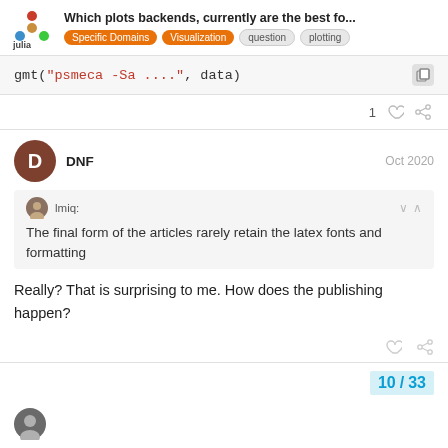Which plots backends, currently are the best fo... | Specific Domains | Visualization | question | plotting
gmt("psmeca -Sa ....", data)
1 (likes) (share)
DNF  Oct 2020
lmiq: The final form of the articles rarely retain the latex fonts and formatting
Really? That is surprising to me. How does the publishing happen?
10 / 33